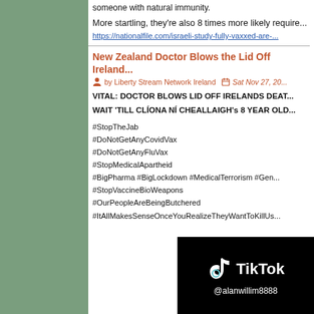someone with natural immunity.
More startling, they're also 8 times more likely require...
https://nationalfile.com/israeli-study-fully-vaxxed-are-...
New Zealand Doctor Blows the Lid Off Ireland...
by Liberty Stream Network Ireland   Sat Nov 27, 20...
VITAL: DOCTOR BLOWS LID OFF IRELANDS DEAT...
WAIT 'TILL CLÍONA NÍ CHEALLAIGH's 8 YEAR OLD...
#StopTheJab
#DoNotGetAnyCovidVax
#DoNotGetAnyFluVax
#StopMedicalApartheid
#BigPharma #BigLockdown #MedicalTerrorism #Gen...
#StopVaccineBioWeapons
#OurPeopleAreBeingButchered
#ItAllMakesSenseOnceYouRealizeTheyWantToKillUs...
[Figure (screenshot): TikTok logo and handle @alanwillim8888 on black background]